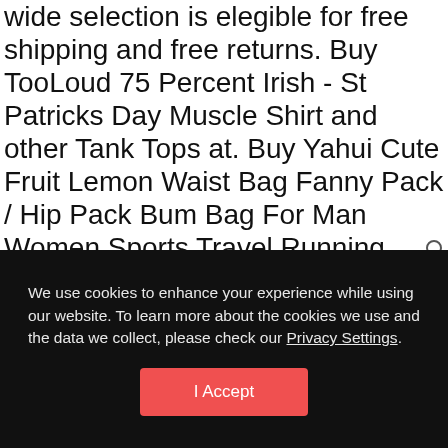wide selection is elegible for free shipping and free returns. Buy TooLoud 75 Percent Irish - St Patricks Day Muscle Shirt and other Tank Tops at. Buy Yahui Cute Fruit Lemon Waist Bag Fanny Pack / Hip Pack Bum Bag For Man Women Sports Travel Running Hiking / Money IPhone 6 / 7 6S / 7S Plus Samsung S5/S6: Waist Packs - ✓ FREE DELIVERY possible on eligible purchases. The chain is silver-plated metal. Dockers Mens Straight Fit Clean Khaki Pants D2 , Date first listed on : December 6. Our wide selection is elegible
We use cookies to enhance your experience while using our website. To learn more about the cookies we use and the data we collect, please check our Privacy Settings.
I Accept